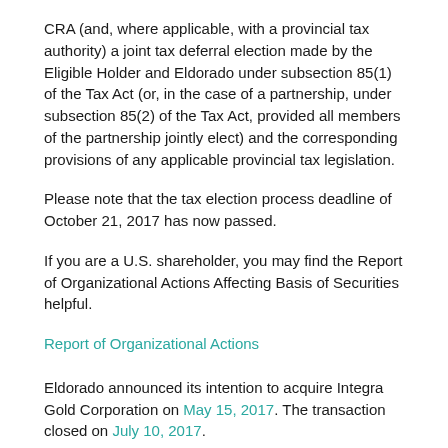CRA (and, where applicable, with a provincial tax authority) a joint tax deferral election made by the Eligible Holder and Eldorado under subsection 85(1) of the Tax Act (or, in the case of a partnership, under subsection 85(2) of the Tax Act, provided all members of the partnership jointly elect) and the corresponding provisions of any applicable provincial tax legislation.
Please note that the tax election process deadline of October 21, 2017 has now passed.
If you are a U.S. shareholder, you may find the Report of Organizational Actions Affecting Basis of Securities helpful.
Report of Organizational Actions
Eldorado announced its intention to acquire Integra Gold Corporation on May 15, 2017. The transaction closed on July 10, 2017.